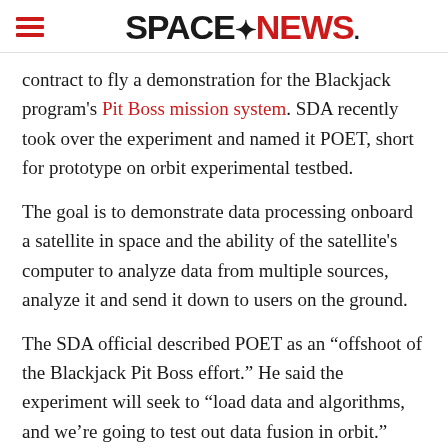SPACENEWS
contract to fly a demonstration for the Blackjack program's Pit Boss mission system. SDA recently took over the experiment and named it POET, short for prototype on orbit experimental testbed.
The goal is to demonstrate data processing onboard a satellite in space and the ability of the satellite's computer to analyze data from multiple sources, analyze it and send it down to users on the ground.
The SDA official described POET as an “offshoot of the Blackjack Pit Boss effort.” He said the experiment will seek to “load data and algorithms, and we’re going to test out data fusion in orbit.”
Military users need data fast, he said, “so we have to